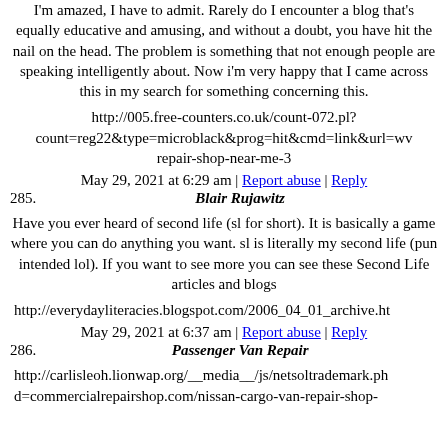I'm amazed, I have to admit. Rarely do I encounter a blog that's equally educative and amusing, and without a doubt, you have hit the nail on the head. The problem is something that not enough people are speaking intelligently about. Now i'm very happy that I came across this in my search for something concerning this.
http://005.free-counters.co.uk/count-072.pl?count=reg22&type=microblack&prog=hit&cmd=link&url=wv repair-shop-near-me-3
May 29, 2021 at 6:29 am | Report abuse | Reply
285. Blair Rujawitz
Have you ever heard of second life (sl for short). It is basically a game where you can do anything you want. sl is literally my second life (pun intended lol). If you want to see more you can see these Second Life articles and blogs
http://everydayliteracies.blogspot.com/2006_04_01_archive.ht
May 29, 2021 at 6:37 am | Report abuse | Reply
286. Passenger Van Repair
http://carlisleoh.lionwap.org/__media__/js/netsoltrademark.ph d=commercialrepairshop.com/nissan-cargo-van-repair-shop-